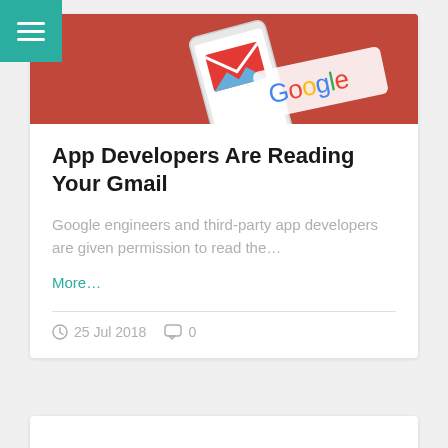[Figure (photo): Smartphone showing Gmail and Google app icons on a red/orange background, partially cropped at top of card]
App Developers Are Reading Your Gmail
Google engineers and third-party app developers are given permission to read the…
More…
25 Jul 2018  0